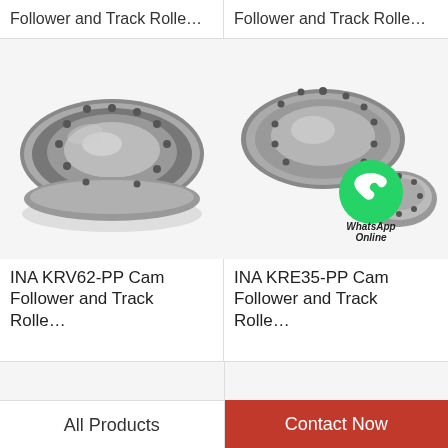Follower and Track Rolle…
Follower and Track Rolle…
[Figure (photo): INA KRV62-PP Cam Follower and Track Roller bearing - metallic roller bearing with inner and outer rings, front view]
[Figure (photo): INA KRE35-PP Cam Follower and Track Roller bearing set with WhatsApp Online badge overlay]
INA KRV62-PP Cam Follower and Track Rolle…
INA KRE35-PP Cam Follower and Track Rolle…
[Figure (photo): Partial view of cam follower bearing at bottom left]
[Figure (photo): Partial view of cam follower bearing at bottom right]
All Products
Contact Now